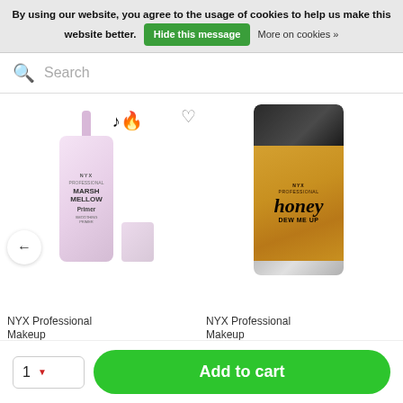By using our website, you agree to the usage of cookies to help us make this website better. Hide this message More on cookies »
Search
[Figure (photo): NYX Professional Makeup Marshmellow Smoothing Primer product photo with TikTok and fire emoji badges]
[Figure (photo): NYX Professional Makeup Honey Dew Me Up Primer product photo in gold bottle]
NYX Professional Makeup
Marshmellow Smoothing
NYX Professional Makeup
Honey Dew Me Up Pri
1
Add to cart